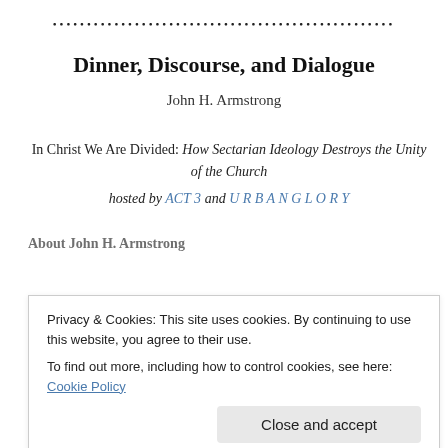••••••••••••••••••••••••••••••••••••••••••••••••••••
Dinner, Discourse, and Dialogue
John H. Armstrong
In Christ We Are Divided: How Sectarian Ideology Destroys the Unity of the Church
hosted by ACT 3 and U R B A N G L O R Y
About John H. Armstrong
Privacy & Cookies: This site uses cookies. By continuing to use this website, you agree to their use.
To find out more, including how to control cookies, see here: Cookie Policy
Close and accept
of the Christian gospel.